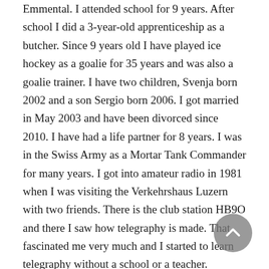Emmental. I attended school for 9 years. After school I did a 3-year-old apprenticeship as a butcher. Since 9 years old I have played ice hockey as a goalie for 35 years and was also a goalie trainer. I have two children, Svenja born 2002 and a son Sergio born 2006. I got married in May 2003 and have been divorced since 2010. I have had a life partner for 8 years. I was in the Swiss Army as a Mortar Tank Commander for many years. I got into amateur radio in 1981 when I was visiting the Verkehrshaus Luzern with two friends. There is the club station HB9O and there I saw how telegraphy is made. That fascinated me very much and I started to learn telegraphy without a school or a teacher.
In 1983 I started studying CW. I taught myself CW with a Junker Key and a Telereader decoder. In 1984 I received my SWL call HE9XMB and work many on the shortwave as listener in CW. I heard a lot on amateur radio in CW and learned to listen better as a training. In 1987 I started to